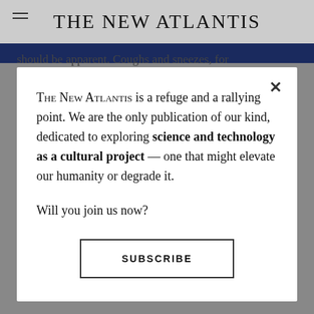THE NEW ATLANTIS
should be apparent. Coughs and sneezes, for example, would seem to fall under both droplet and
[Figure (screenshot): Modal dialog overlay on The New Atlantis website with subscription call-to-action]
The New Atlantis is a refuge and a rallying point. We are the only publication of our kind, dedicated to exploring science and technology as a cultural project — one that might elevate our humanity or degrade it.
Will you join us now?
SUBSCRIBE